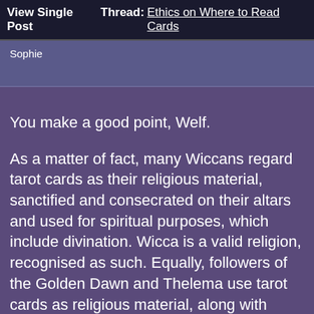View Single Post  Thread: Ethics on Where to Read Cards
Sophie
You make a good point, Welf.

As a matter of fact, many Wiccans regard tarot cards as their religious material, sanctified and consecrated on their altars and used for spiritual purposes, which include divination. Wicca is a valid religion, recognised as such. Equally, followers of the Golden Dawn and Thelema use tarot cards as religious material, along with others materials. They place the cards on the Tree of Life. It is as quiet and meditative as it comes, as an activity.

One day there will be a law case about this in America (as there is about everything else 🙂). There was about the pentagram on the veterans' gravestone, which the